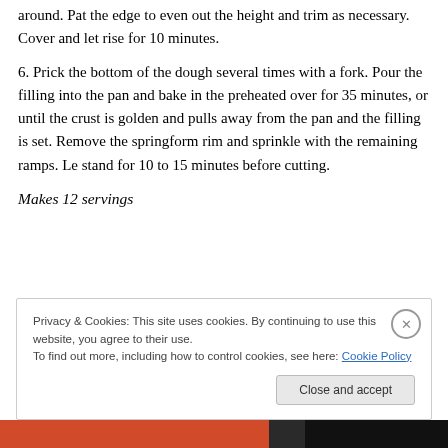around. Pat the edge to even out the height and trim as necessary. Cover and let rise for 10 minutes.
6. Prick the bottom of the dough several times with a fork. Pour the filling into the pan and bake in the preheated over for 35 minutes, or until the crust is golden and pulls away from the pan and the filling is set. Remove the springform rim and sprinkle with the remaining ramps. Le stand for 10 to 15 minutes before cutting.
Makes 12 servings
Privacy & Cookies: This site uses cookies. By continuing to use this website, you agree to their use. To find out more, including how to control cookies, see here: Cookie Policy